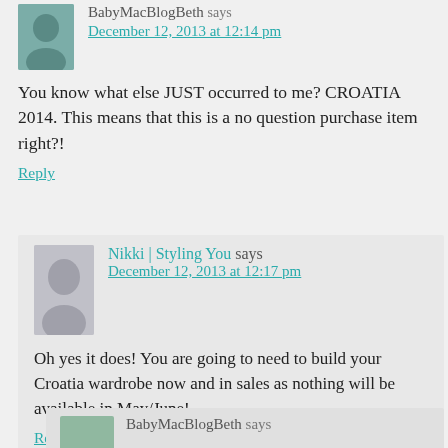BabyMacBlogBeth says
December 12, 2013 at 12:14 pm
You know what else JUST occurred to me? CROATIA 2014. This means that this is a no question purchase item right?!
Reply
Nikki | Styling You says
December 12, 2013 at 12:17 pm
Oh yes it does! You are going to need to build your Croatia wardrobe now and in sales as nothing will be available in May/June!
Reply
BabyMacBlogBeth says